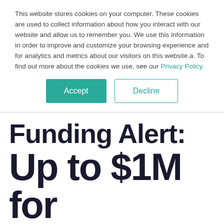This website stores cookies on your computer. These cookies are used to collect information about how you interact with our website and allow us to remember you. We use this information in order to improve and customize your browsing experience and for analytics and metrics about our visitors on this website.a. To find out more about the cookies we use, see our Privacy Policy.
Accept | Decline
Funding Alert: Up to $1M for Computational and Data...